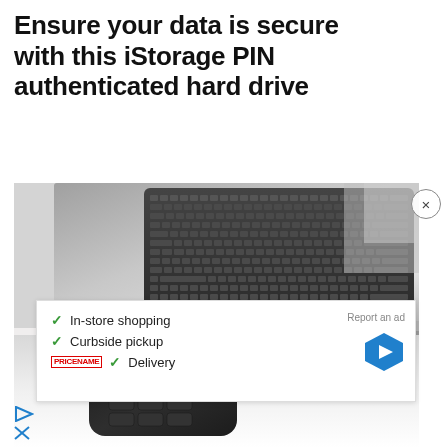Ensure your data is secure with this iStorage PIN authenticated hard drive
[Figure (photo): Photo of a black iStorage PIN-authenticated hard drive connected via USB cable to a silver MacBook laptop on a white surface]
✓ In-store shopping
✓ Curbside pickup
✓ Delivery
Report an ad